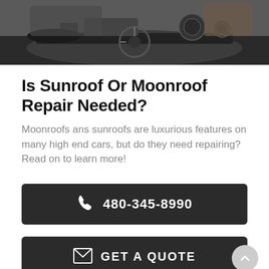[Figure (photo): Interior of a car showing the dashboard and steering wheel, with a person visible]
Is Sunroof Or Moonroof Repair Needed?
Moonroofs ans sunroofs are luxurious features on many high end cars, but do they need repairing? Read on to learn more!
480-345-8990
GET A QUOTE